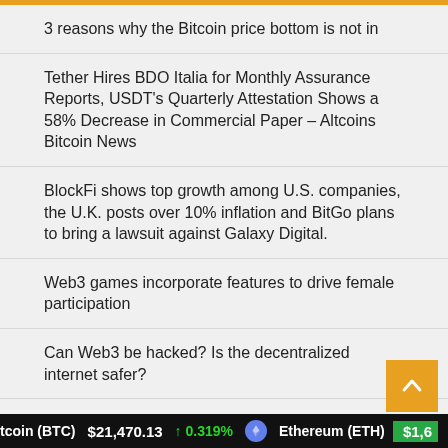3 reasons why the Bitcoin price bottom is not in
Tether Hires BDO Italia for Monthly Assurance Reports, USDT’s Quarterly Attestation Shows a 58% Decrease in Commercial Paper – Altcoins Bitcoin News
BlockFi shows top growth among U.S. companies, the U.K. posts over 10% inflation and BitGo plans to bring a lawsuit against Galaxy Digital.
Web3 games incorporate features to drive female participation
Can Web3 be hacked? Is the decentralized internet safer?
US Federal Reserve Board Unveils Final Guidelines Used When Reviewing Requests for Access to Master Accounts – Finance Bitcoin News
tcoin (BTC) $21,470.13 ↑ 0.319% Ethereum (ETH) $1,6...